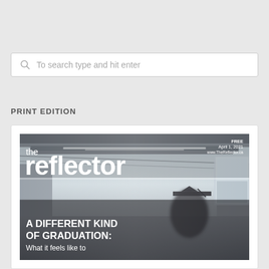To search type and hit enter
PRINT EDITION
[Figure (photo): Magazine cover of 'the reflector', April 1, 2021 edition. Shows a blurred interior hallway/corridor photo with a person in graduation cap. Bold white text reads 'the reflector' at the top left. Top right shows 'FREE / April 1, 2021 / www.TheReflector.ca'. Bottom left has headline 'A DIFFERENT KIND OF GRADUATION: What it feels like to...']